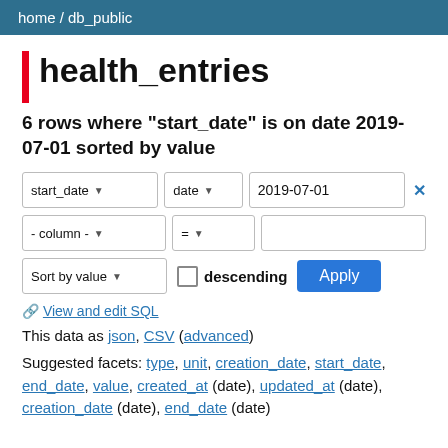home / db_public
health_entries
6 rows where "start_date" is on date 2019-07-01 sorted by value
start_date ▼   date ▼   2019-07-01   ✕
- column - ▼   = ▼
Sort by value ▼   □ descending   Apply
🔗 View and edit SQL
This data as json, CSV (advanced)
Suggested facets: type, unit, creation_date, start_date, end_date, value, created_at (date), updated_at (date), creation_date (date), end_date (date)